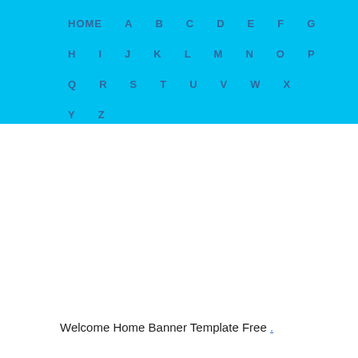HOME  A  B  C  D  E  F  G  H  I  J  K  L  M  N  O  P  Q  R  S  T  U  V  W  X  Y  Z
Welcome Home Banner Template Free .